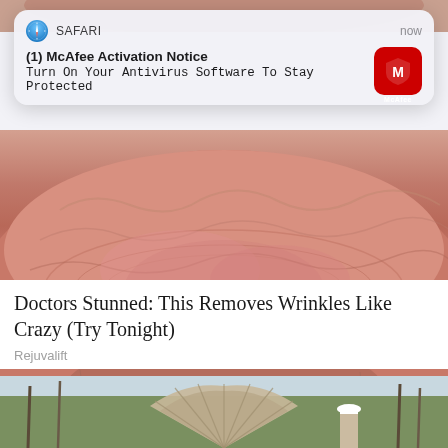[Figure (screenshot): iOS Safari push notification banner showing McAfee Activation Notice with Safari compass icon, 'now' timestamp, bold title '(1) McAfee Activation Notice', subtitle 'Turn On Your Antivirus Software To Stay Protected', and red McAfee shield icon on right]
[Figure (photo): Close-up photo of aged, wrinkled skin (chin/neck area) with reddish-pink tones and visible texture]
Doctors Stunned: This Removes Wrinkles Like Crazy (Try Tonight)
Rejuvalift
[Figure (photo): Outdoor photo of person holding a large turkey fan/tail display, standing among bare trees]